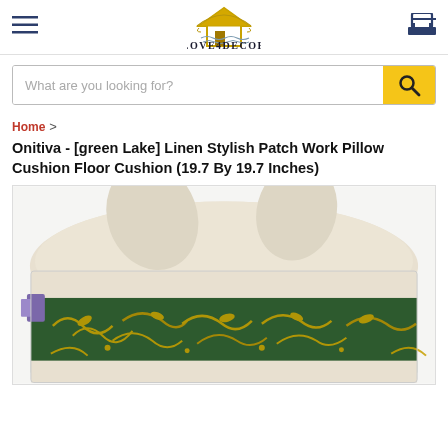[Figure (logo): Love4Decor logo with golden house/roof icon above stylized text]
What are you looking for?
Home > Onitiva - [green Lake] Linen Stylish Patch Work Pillow Cushion Floor Cushion (19.7 By 19.7 Inches)
[Figure (photo): Product photo of a patchwork pillow cushion with a cream/beige upper half and a dark green section with gold floral pattern on the lower half, set against a white background.]